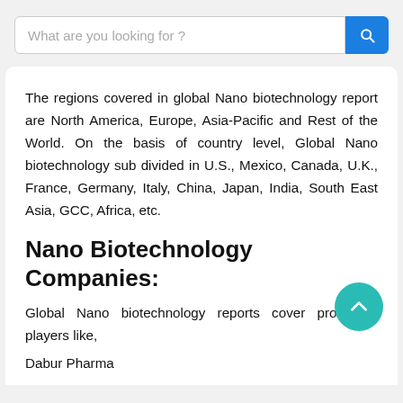[Figure (screenshot): Search bar with placeholder text 'What are you looking for ?' and a blue search button with magnifying glass icon]
The regions covered in global Nano biotechnology report are North America, Europe, Asia-Pacific and Rest of the World. On the basis of country level, Global Nano biotechnology sub divided in U.S., Mexico, Canada, U.K., France, Germany, Italy, China, Japan, India, South East Asia, GCC, Africa, etc.
Nano Biotechnology Companies:
Global Nano biotechnology reports cover prominent players like,
Dabur Pharma